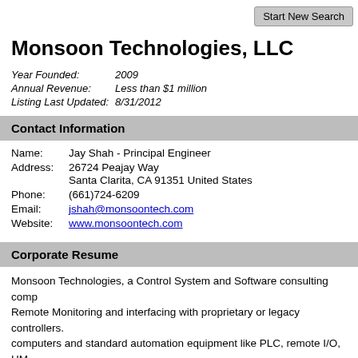Start New Search
Monsoon Technologies, LLC
Year Founded: 2009
Annual Revenue: Less than $1 million
Listing Last Updated: 8/31/2012
Contact Information
Name: Jay Shah - Principal Engineer
Address: 26724 Peajay Way
Santa Clarita, CA 91351 United States
Phone: (661)724-6209
Email: jshah@monsoontech.com
Website: www.monsoontech.com
Corporate Resume
Monsoon Technologies, a Control System and Software consulting comp... Remote Monitoring and interfacing with proprietary or legacy controllers. computers and standard automation equipment like PLC, remote I/O, HM to protect proprietary logic, while also taking advantage of cost-effective a for building custom adapters (protocol converters) enable legacy equip...